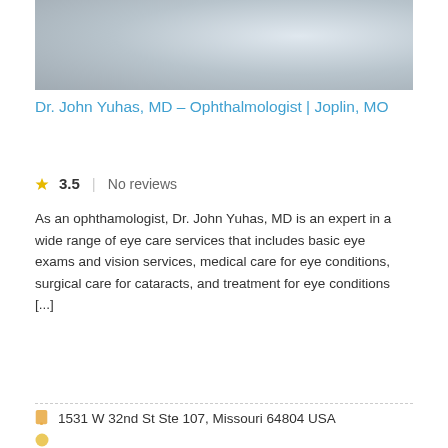[Figure (photo): Blurred grayscale photo of a person, likely a doctor headshot]
Dr. John Yuhas, MD – Ophthalmologist | Joplin, MO
3.5  |  No reviews
As an ophthamologist, Dr. John Yuhas, MD is an expert in a wide range of eye care services that includes basic eye exams and vision services, medical care for eye conditions, surgical care for cataracts, and treatment for eye conditions [...]
read more »
1531 W 32nd St Ste 107, Missouri 64804 USA